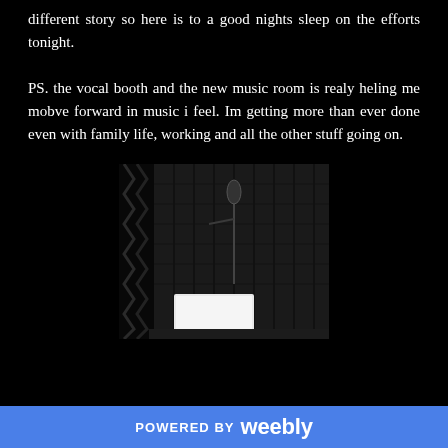different story so here is to a good nights sleep on the efforts tonight.
PS. the vocal booth and the new music room is realy heling me mobve forward in music i feel. Im getting more than ever done even with family life, working and all the other stuff going on.
[Figure (photo): A dark vocal recording booth with acoustic foam panels on the walls, a microphone stand, and a laptop/monitor visible with a bright screen.]
POWERED BY weebly